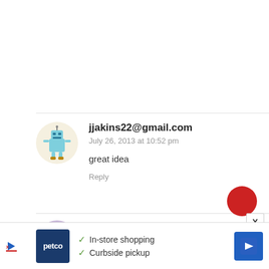[Figure (illustration): Robot avatar icon on cream/yellow background circle]
jjakins22@gmail.com
July 26, 2013 at 10:52 pm
great idea
Reply
[Figure (illustration): Purple cat/monster avatar for Tiffany Schmidt]
Tiffany Schmidt
[Figure (screenshot): Petco advertisement banner with In-store shopping and Curbside pickup checkmarks]